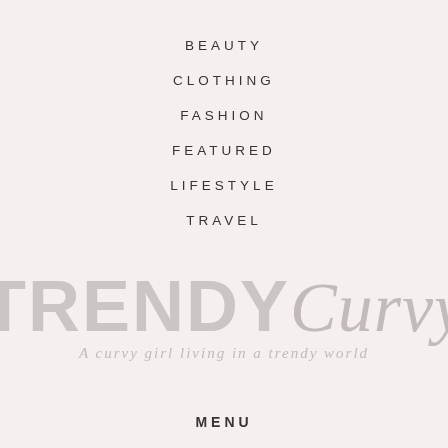BEAUTY
CLOTHING
FASHION
FEATURED
LIFESTYLE
TRAVEL
[Figure (logo): TRENDYCurvy logo with tagline 'A curvy girl living in a trendy world']
MENU